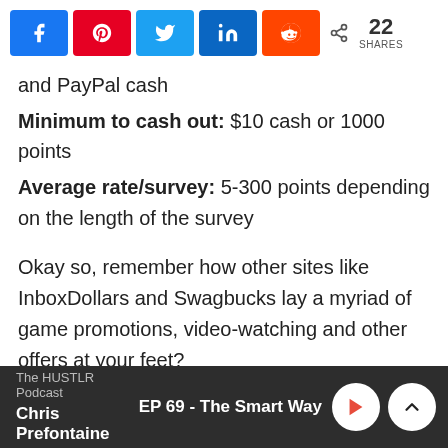[Figure (infographic): Social share bar with buttons for Facebook, Pinterest, Twitter, LinkedIn, Reddit, and a share count of 22 shares]
and PayPal cash
Minimum to cash out: $10 cash or 1000 points
Average rate/survey: 5-300 points depending on the length of the survey
Okay so, remember how other sites like InboxDollars and Swagbucks lay a myriad of game promotions, video-watching and other offers at your feet?
The HUSTLR Podcast | Chris Prefontaine | EP 69 - The Smart Way